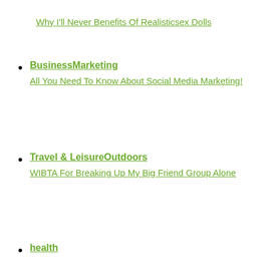Why I'll Never Benefits Of Realisticsex Dolls
BusinessMarketing
All You Need To Know About Social Media Marketing!
Travel & LeisureOutdoors
WIBTA For Breaking Up My Big Friend Group Alone
health